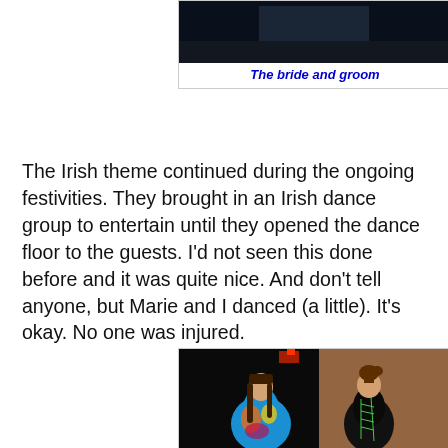[Figure (photo): Top portion of a photo of the bride and groom, partially cropped at top of page]
The bride and groom
The Irish theme continued during the ongoing festivities. They brought in an Irish dance group to entertain until they opened the dance floor to the guests. I'd not seen this done before and it was quite nice. And don't tell anyone, but Marie and I danced (a little). It's okay. No one was injured.
[Figure (photo): Two Irish dancers in colorful costumes — one in a bright blue/multicolor dress, one in a black dress with green trim — performing at the wedding reception]